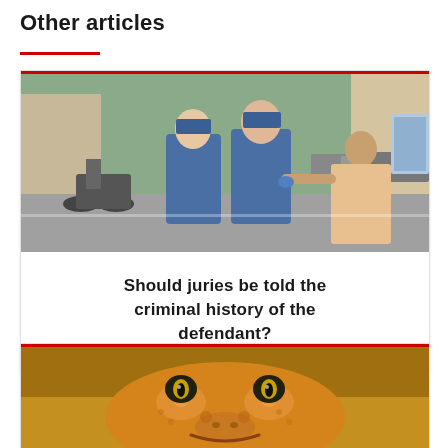Other articles
[Figure (photo): Two police officers in blue uniforms with gloves restraining or attending to a person on a busy street with motorcycles and cars in the background.]
Should juries be told the criminal history of the defendant?
[Figure (photo): Close-up photo of an orange leopard gecko facing the camera with a smiling expression, blurred background.]